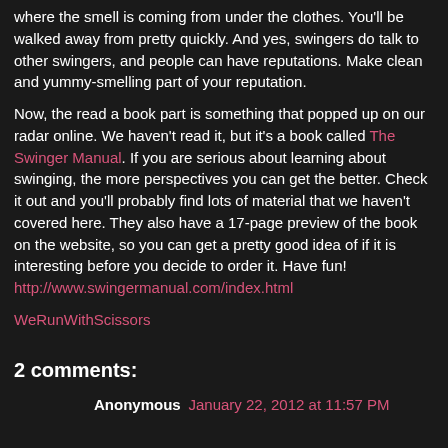where the smell is coming from under the clothes.  You'll be walked away from pretty quickly.  And yes, swingers do talk to other swingers, and people can have reputations.  Make clean and yummy-smelling part of your reputation.
Now, the read a book part is something that popped up on our radar online.  We haven't read it, but it's a book called The Swinger Manual.  If you are serious about learning about swinging, the more perspectives you can get the better.  Check it out and you'll probably find lots of material that we haven't covered here.  They also have a 17-page preview of the book on the website, so you can get a pretty good idea of if it is interesting before you decide to order it.  Have fun!
http://www.swingermanual.com/index.html
WeRunWithScissors
2 comments:
Anonymous  January 22, 2012 at 11:57 PM